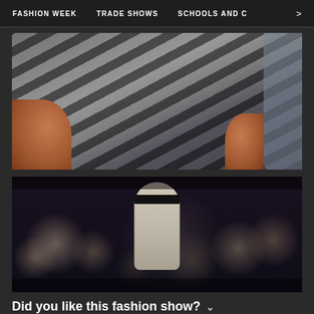FASHION WEEK   TRADE SHOWS   SCHOOLS AND C   >
[Figure (photo): Close-up photo of a person wearing black and white zebra-stripe pattern clothing (jacket and pants) with a zipper, outdoors on a light concrete surface]
[Figure (photo): Fashion show runway photo showing models and a crowd; the central figure is a young shirtless male model with a wide black band across his eyes, surrounded by audience members]
Did you like this fashion show?
★ ★ ★ ★ ★